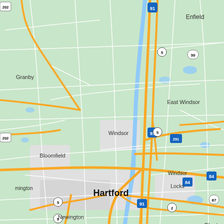[Figure (map): Google Maps view of the Hartford, Connecticut area showing towns including Enfield, Somers, Stafford, Granby, Windsor Locks, East Windsor, Ellington, Tolland, Windsor, Bloomfield, Vernon, Coventry, Hartford, Manchester, Newington, Glastonbury, Columbia, Hebron, Marlborough, New Britain, Cromwell, East Hampton, Colchester, and highway routes including I-91, I-84, I-291, Route 5, Route 30, Route 44, Route 74, Route 2, Route 9.]